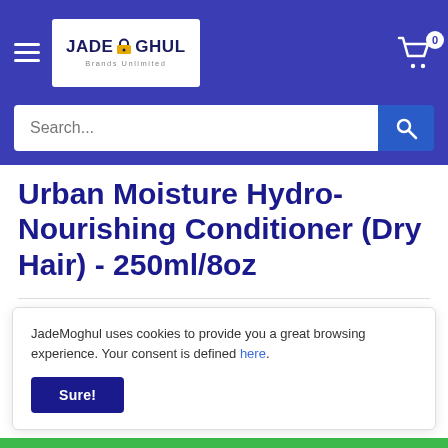JadeMoghul - Brands Unlimited
Urban Moisture Hydro-Nourishing Conditioner (Dry Hair) - 250ml/8oz
Price: $68.00
JadeMoghul uses cookies to provide you a great browsing experience. Your consent is defined here. Sure!